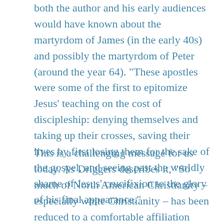both the author and his early audiences would have known about the martyrdom of James (in the early 40s) and possibly the martyrdom of Peter (around the year 64). "These apostles were some of the first to epitomize Jesus' teaching on the cost of discipleship: denying themselves and taking up their crosses, saving their lives by first losing them for the sake of the gospel, and seeing past the worldly shame of Jesus' crucifixion to the glory of his final appearance."
This is a challenging message for us today. As Driggers describes it, “So much of North American Christianity – especially white Christianity – has been reduced to a comfortable affiliation with Jesus.” For many of us, our faith may be something of an add-on to a busy and full life. How easy it is to attend a church service (perhaps especially when they’re online), or to say a prayer, or to read a spiritual devotion that serves to inspire and